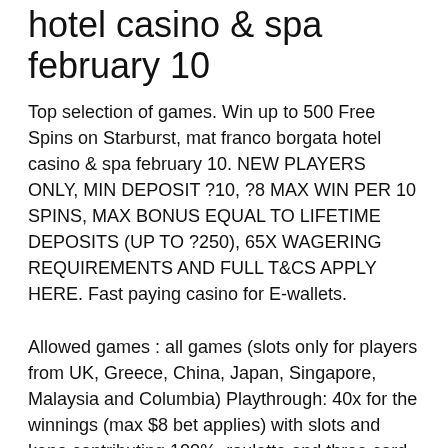hotel casino & spa february 10
Top selection of games. Win up to 500 Free Spins on Starburst, mat franco borgata hotel casino & spa february 10. NEW PLAYERS ONLY, MIN DEPOSIT ?10, ?8 MAX WIN PER 10 SPINS, MAX BONUS EQUAL TO LIFETIME DEPOSITS (UP TO ?250), 65X WAGERING REQUIREMENTS AND FULL T&CS APPLY HERE. Fast paying casino for E-wallets.
Allowed games : all games (slots only for players from UK, Greece, China, Japan, Singapore, Malaysia and Columbia) Playthrough: 40x for the winnings (max $8 bet applies) with slots and keno contributing 100%, roulette and three card poker 50%, baccarat 25%, video poker 10% and blackjack 5% Maximum cashout: $250 mat franco borgata hotel